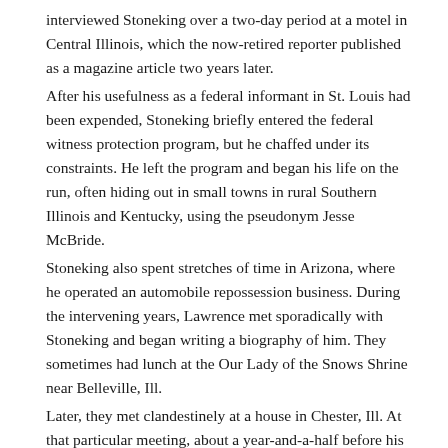interviewed Stoneking over a two-day period at a motel in Central Illinois, which the now-retired reporter published as a magazine article two years later. After his usefulness as a federal informant in St. Louis had been expended, Stoneking briefly entered the federal witness protection program, but he chaffed under its constraints. He left the program and began his life on the run, often hiding out in small towns in rural Southern Illinois and Kentucky, using the pseudonym Jesse McBride. Stoneking also spent stretches of time in Arizona, where he operated an automobile repossession business. During the intervening years, Lawrence met sporadically with Stoneking and began writing a biography of him. They sometimes had lunch at the Our Lady of the Snows Shrine near Belleville, Ill. Later, they met clandestinely at a house in Chester, Ill. At that particular meeting, about a year-and-a-half before his death, Stoneking expressed apprehension about plans to return to Arizona. Lawrence last saw Stoneking in 2001,